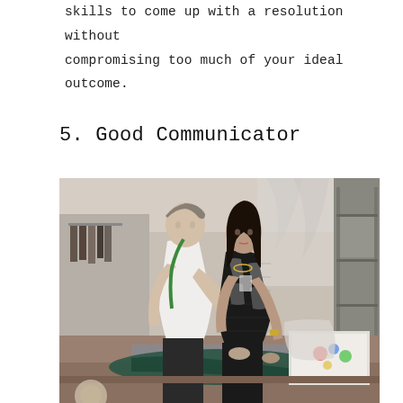skills to come up with a resolution without compromising too much of your ideal outcome.
5. Good Communicator
[Figure (photo): Two people leaning over a work table in a fashion/clothing workspace. A man in a white short-sleeve shirt with a green measuring tape around his neck and a woman in a black-and-white patterned blazer are examining fabric or a garment on the table. Background shows clothing racks and industrial shelving.]